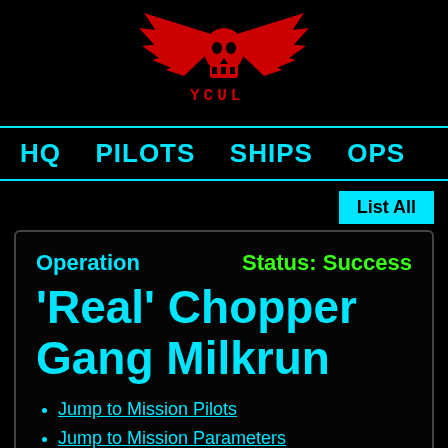[Figure (logo): Red skull with wings logo above red stylized text reading 'YCUL' or similar faction name]
HQ   PILOTS   SHIPS   OPS
List All
Operation   Status: Success
'Real' Chopper Gang Milkrun
Jump to Mission Pilots
Jump to Mission Parameters